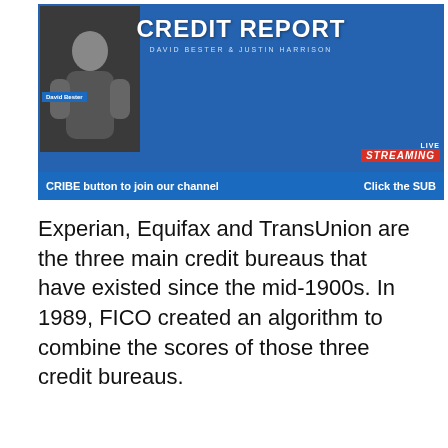[Figure (screenshot): Screenshot of a live streaming video about credit reports, showing a presenter (David Bester) in a video thumbnail on the left, a blue slide background with the title 'CREDIT REPORT' and authors 'DAVID BESTER & JUSTIN HARRISON', a 'LIVE STREAMING' badge in orange-red in the bottom right, and a blue banner at the bottom reading 'CRIBE button to join our channel' and 'Click the SUB']
Experian, Equifax and TransUnion are the three main credit bureaus that have existed since the mid-1900s. In 1989, FICO created an algorithm to combine the scores of those three credit bureaus.